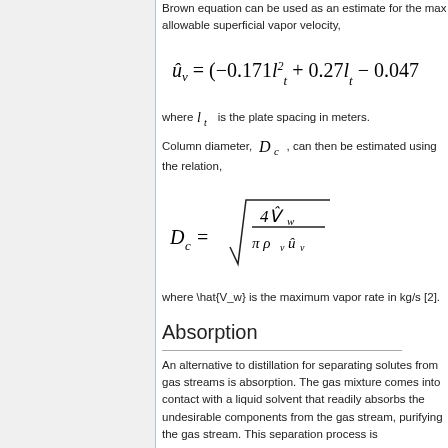Brown equation can be used as an estimate for the max allowable superficial vapor velocity,
where l_t is the plate spacing in meters.
Column diameter, D_c, can then be estimated using the relation,
where \hat{V_w} is the maximum vapor rate in kg/s [2].
Absorption
An alternative to distillation for separating solutes from gas streams is absorption. The gas mixture comes into contact with a liquid solvent that readily absorbs the undesirable components from the gas stream, purifying the gas stream. This separation process is